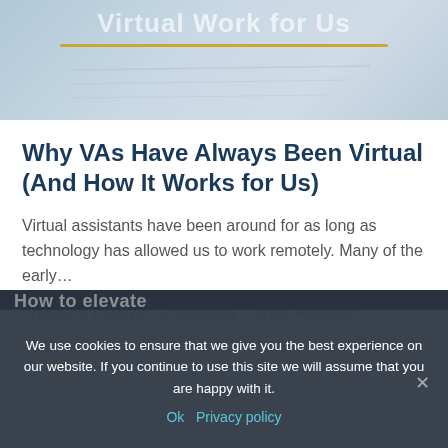[Figure (photo): Top banner image showing a notebook/workspace scene with text 'Virtual Work for Us' partially visible in white, overlaid with a gold horizontal line. Background is a blurred desk/writing surface.]
Why VAs Have Always Been Virtual (And How It Works for Us)
Virtual assistants have been around for as long as technology has allowed us to work remotely. Many of the early…
Freelance Lifestyle / Productivity / Virtual Assistant
We use cookies to ensure that we give you the best experience on our website. If you continue to use this site we will assume that you are happy with it.
Ok  Privacy policy